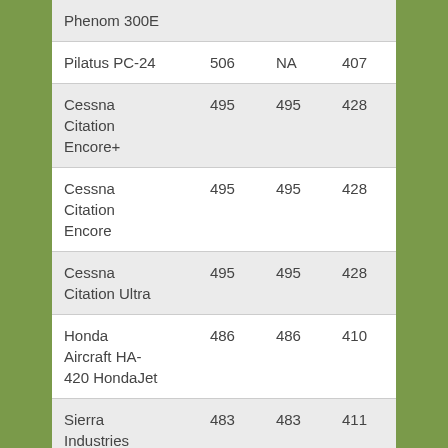| Phenom 300E |  |  |  |
| Pilatus PC-24 | 506 | NA | 407 |
| Cessna Citation Encore+ | 495 | 495 | 428 |
| Cessna Citation Encore | 495 | 495 | 428 |
| Cessna Citation Ultra | 495 | 495 | 428 |
| Honda Aircraft HA-420 HondaJet | 486 | 486 | 410 |
| Sierra Industries | 483 | 483 | 411 |